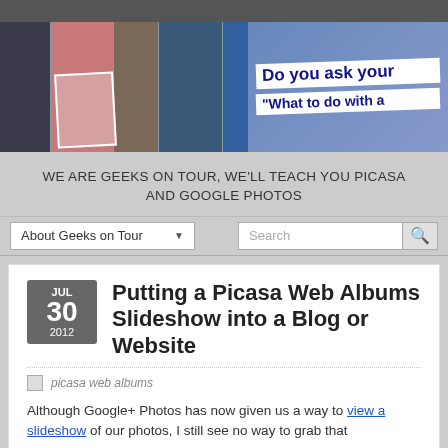[Figure (illustration): Website banner showing a photo collage on the left side with various old photos, and text on the right reading 'Do you ask your "What to do with a']
WE ARE GEEKS ON TOUR, WE'LL TEACH YOU PICASA AND GOOGLE PHOTOS
About Geeks on Tour  [dropdown]
Search
Putting a Picasa Web Albums Slideshow into a Blog or Website
picasa web albums
Although Google+ Photos has now given us a way to view a slideshow of our photos, I still see no way to grab that